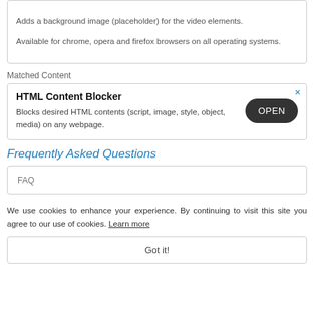Adds a background image (placeholder) for the video elements.

Available for chrome, opera and firefox browsers on all operating systems.
Matched Content
[Figure (screenshot): Advertisement box for HTML Content Blocker with OPEN button]
Frequently Asked Questions
FAQ
We use cookies to enhance your experience. By continuing to visit this site you agree to our use of cookies. Learn more
Got it!